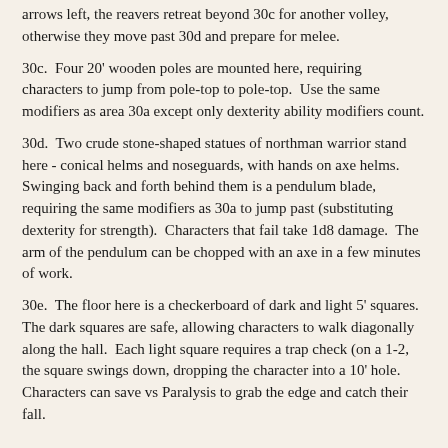arrows left, the reavers retreat beyond 30c for another volley, otherwise they move past 30d and prepare for melee.
30c.  Four 20' wooden poles are mounted here, requiring characters to jump from pole-top to pole-top.  Use the same modifiers as area 30a except only dexterity ability modifiers count.
30d.  Two crude stone-shaped statues of northman warrior stand here - conical helms and noseguards, with hands on axe helms.  Swinging back and forth behind them is a pendulum blade, requiring the same modifiers as 30a to jump past (substituting dexterity for strength).  Characters that fail take 1d8 damage.  The arm of the pendulum can be chopped with an axe in a few minutes of work.
30e.  The floor here is a checkerboard of dark and light 5' squares.  The dark squares are safe, allowing characters to walk diagonally along the hall.  Each light square requires a trap check (on a 1-2, the square swings down, dropping the character into a 10' hole.  Characters can save vs Paralysis to grab the edge and catch their fall.